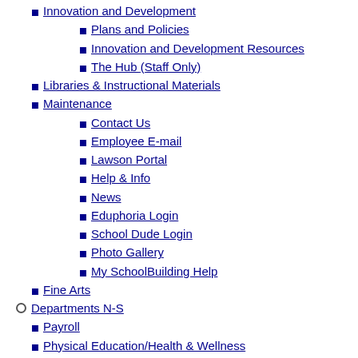Innovation and Development
Plans and Policies
Innovation and Development Resources
The Hub (Staff Only)
Libraries & Instructional Materials
Maintenance
Contact Us
Employee E-mail
Lawson Portal
Help & Info
News
Eduphoria Login
School Dude Login
Photo Gallery
My SchoolBuilding Help
Fine Arts
Departments N-S
Payroll
Physical Education/Health & Wellness
Physical Education and Assessment
Health Education
Coordinated School Health
Wellness Policy / Plan
D-SHAC
Contact Us